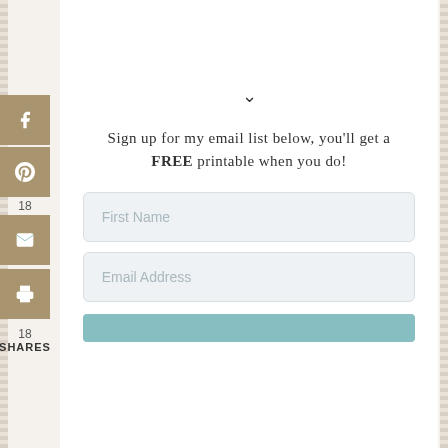[Figure (screenshot): Social share sidebar with Facebook, Pinterest (18), email, and print buttons stacked vertically, with '18 SHARES' count below]
Sign up for my email list below, you'll get a FREE printable when you do!
[Figure (screenshot): Email signup form with First Name input field, Email Address input field, and a teal submit button]